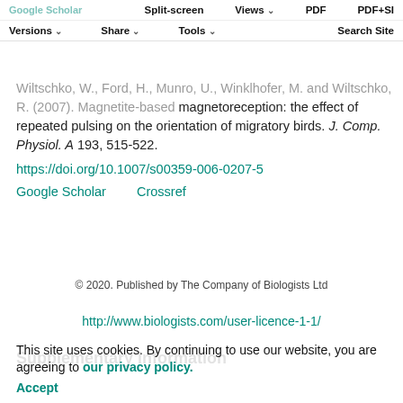Split-screen | Views | PDF | PDF+SI | Versions | Share | Tools | Search Site
Wiltschko, W., Ford, H., Munro, U., Winklhofer, M. and Wiltschko, R. (2007). Magnetite-based magnetoreception: the effect of repeated pulsing on the orientation of migratory birds. J. Comp. Physiol. A 193, 515-522.
https://doi.org/10.1007/s00359-006-0207-5
Google Scholar   Crossref
© 2020. Published by The Company of Biologists Ltd
http://www.biologists.com/user-licence-1-1/
Supplementary information
This site uses cookies. By continuing to use our website, you are agreeing to our privacy policy. Accept